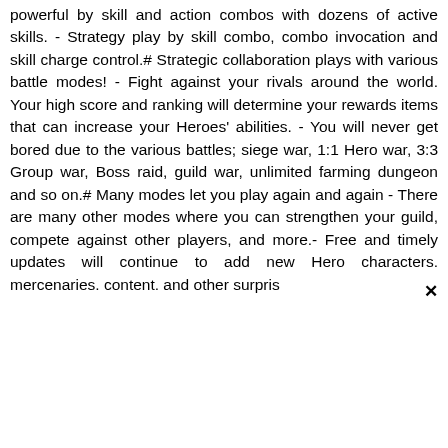powerful by skill and action combos with dozens of active skills. - Strategy play by skill combo, combo invocation and skill charge control.# Strategic collaboration plays with various battle modes! - Fight against your rivals around the world. Your high score and ranking will determine your rewards items that can increase your Heroes' abilities. - You will never get bored due to the various battles; siege war, 1:1 Hero war, 3:3 Group war, Boss raid, guild war, unlimited farming dungeon and so on.# Many modes let you play again and again - There are many other modes where you can strengthen your guild, compete against other players, and more.- Free and timely updates will continue to add new Hero characters. mercenaries. content. and other surpris